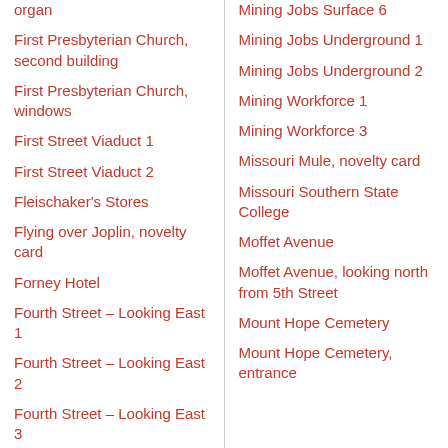organ
First Presbyterian Church, second building
First Presbyterian Church, windows
First Street Viaduct 1
First Street Viaduct 2
Fleischaker's Stores
Flying over Joplin, novelty card
Forney Hotel
Fourth Street – Looking East 1
Fourth Street – Looking East 2
Fourth Street – Looking East 3
Mining Jobs Surface 6
Mining Jobs Underground 1
Mining Jobs Underground 2
Mining Workforce 1
Mining Workforce 3
Missouri Mule, novelty card
Missouri Southern State College
Moffet Avenue
Moffet Avenue, looking north from 5th Street
Mount Hope Cemetery
Mount Hope Cemetery, entrance